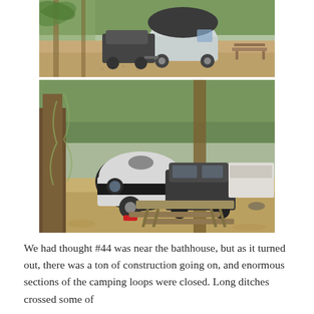[Figure (photo): Top photo: A teardrop-style camping trailer (light gray/silver) hitched to a dark SUV/truck, parked on a gravel/leaf-covered campsite with palm trees and a picnic table visible in the background.]
[Figure (photo): Bottom photo: A teardrop camping trailer (black and white) parked at a wooded campsite with large oak/moss-draped trees, a dark SUV, a metal picnic table in the foreground, and another large RV visible in the background.]
We had thought #44 was near the bathhouse, but as it turned out, there was a ton of construction going on, and enormous sections of the camping loops were closed. Long ditches crossed some of